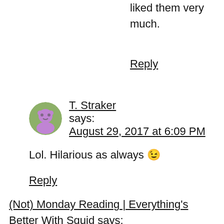liked them very much.
Reply
T. Straker says:
August 29, 2017 at 6:09 PM
Lol. Hilarious as always 😉
Reply
(Not) Monday Reading | Everything's Better With Squid says:
August 29, 2017 at 6:23 PM
[…] finally, here's the ever-awesome Chuck Wendig on why Star Wars matters more than ever right now. I think about how white guys (like,